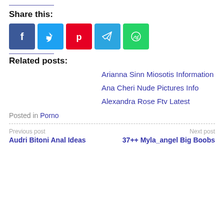Share this:
[Figure (infographic): Social share buttons: Facebook, Twitter, Pinterest, Telegram, WhatsApp]
Related posts:
Arianna Sinn Miosotis Information
Ana Cheri Nude Pictures Info
Alexandra Rose Ftv Latest
Posted in Porno
Previous post
Audri Bitoni Anal Ideas
Next post
37++ Myla_angel Big Boobs